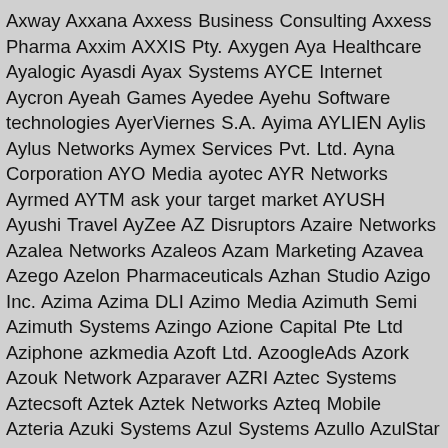Axway Axxana Axxess Business Consulting Axxess Pharma Axxim AXXIS Pty. Axygen Aya Healthcare Ayalogic Ayasdi Ayax Systems AYCE Internet Aycron Ayeah Games Ayedee Ayehu Software technologies AyerViernes S.A. Ayima AYLIEN Aylis Aylus Networks Aymex Services Pvt. Ltd. Ayna Corporation AYO Media ayotec AYR Networks Ayrmed AYTM ask your target market AYUSH Ayushi Travel AyZee AZ Disruptors Azaire Networks Azalea Networks Azaleos Azam Marketing Azavea Azego Azelon Pharmaceuticals Azhan Studio Azigo Inc. Azima Azima DLI Azimo Media Azimuth Semi Azimuth Systems Azingo Azione Capital Pte Ltd Aziphone azkmedia Azoft Ltd. AzoogleAds Azork Azouk Network Azparaver AZRI Aztec Systems Aztecsoft Aztek Aztek Networks Azteq Mobile Azteria Azuki Systems Azul Systems Azullo AzulStar Azumio Azuna Azunga Marketing Azur Soft Azure Power Azure Solutions Azure Web Design Azuro Azyxxi AZZURRO Semiconductors Ánh sáng £1M İSKİ - İstanbul Su